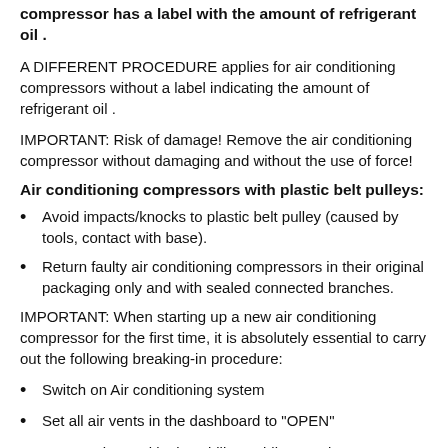NOTE: This procedure only applies if the new air conditioning compressor has a label with the amount of refrigerant oil .
A DIFFERENT PROCEDURE applies for air conditioning compressors without a label indicating the amount of refrigerant oil .
IMPORTANT: Risk of damage! Remove the air conditioning compressor without damaging and without the use of force!
Air conditioning compressors with plastic belt pulleys:
Avoid impacts/knocks to plastic belt pulley (caused by tools, contact with base).
Return faulty air conditioning compressors in their original packaging only and with sealed connected branches.
IMPORTANT: When starting up a new air conditioning compressor for the first time, it is absolutely essential to carry out the following breaking-in procedure:
Switch on Air conditioning system
Set all air vents in the dashboard to "OPEN"
Start engine and let it stabilize at idle speed
Set blower output to min. 75% of max. blower output
Switch on heating and air conditioning system and run for at least 2